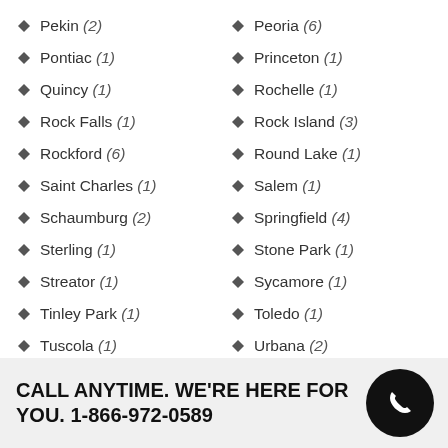Pekin (2)
Peoria (6)
Pontiac (1)
Princeton (1)
Quincy (1)
Rochelle (1)
Rock Falls (1)
Rock Island (3)
Rockford (6)
Round Lake (1)
Saint Charles (1)
Salem (1)
Schaumburg (2)
Springfield (4)
Sterling (1)
Stone Park (1)
Streator (1)
Sycamore (1)
Tinley Park (1)
Toledo (1)
Tuscola (1)
Urbana (2)
Vandalia (2)
Vernon Hills (1)
CALL ANYTIME. WE'RE HERE FOR YOU. 1-866-972-0589